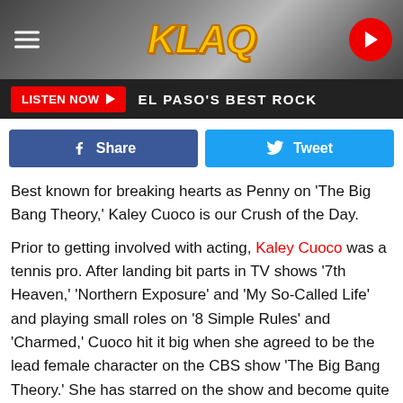[Figure (logo): KLAQ radio station header with hamburger menu, KLAQ logo in yellow italic text, and red play button on dark metallic background]
LISTEN NOW ▶  EL PASO'S BEST ROCK
[Figure (other): Facebook Share button and Twitter Tweet button side by side]
Best known for breaking hearts as Penny on 'The Big Bang Theory,' Kaley Cuoco is our Crush of the Day.
Prior to getting involved with acting, Kaley Cuoco was a tennis pro. After landing bit parts in TV shows '7th Heaven,' 'Northern Exposure' and 'My So-Called Life' and playing small roles on '8 Simple Rules' and 'Charmed,' Cuoco hit it big when she agreed to be the lead female character on the CBS show 'The Big Bang Theory.' She has starred on the show and become quite the sex symbol.